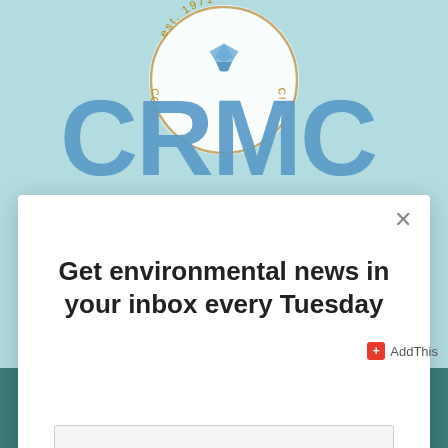[Figure (logo): CRMC (Coastal Resources Management Council) circular logo with 'est. 1971' text and shell/fan emblem, large blue letters CRMC visible on light teal background]
Get environmental news in your inbox every Tuesday
[Figure (screenshot): Email input field with placeholder text 'Your email']
[Figure (screenshot): Orange/coral Subscribe button]
Your support reaps
AddThis